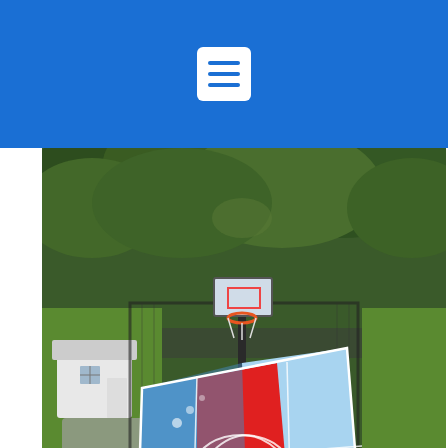Menu / navigation header bar
[Figure (photo): Aerial drone photograph of a backyard basketball half court with blue and red sport tile surface, basketball hoop and backboard, surrounded by green grass, trees, and a white shed/building in the background. The court has painted lines and sits within a fenced area.]
Basketball - Half Court 30'9" 30'9"